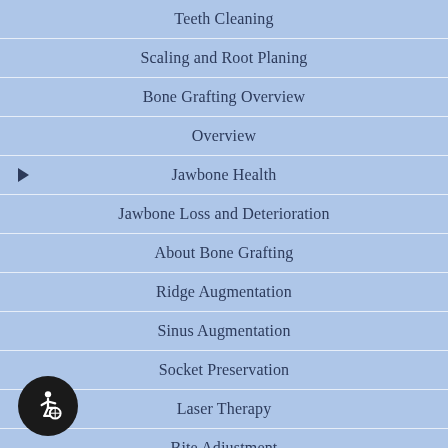Teeth Cleaning
Scaling and Root Planing
Bone Grafting Overview
Overview
Jawbone Health
Jawbone Loss and Deterioration
About Bone Grafting
Ridge Augmentation
Sinus Augmentation
Socket Preservation
Laser Therapy
Bite Adjustment
Reduction Surgery
[Figure (illustration): Accessibility icon: wheelchair user symbol in white on dark circular background]